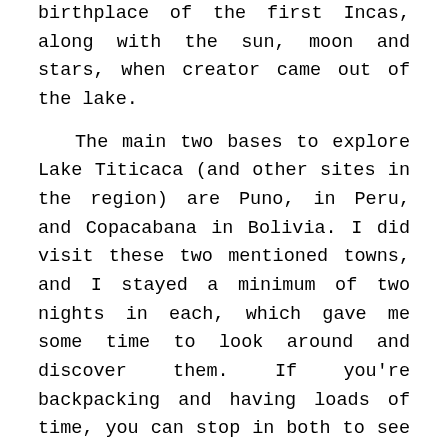birthplace of the first Incas, along with the sun, moon and stars, when creator came out of the lake.

The main two bases to explore Lake Titicaca (and other sites in the region) are Puno, in Peru, and Copacabana in Bolivia. I did visit these two mentioned towns, and I stayed a minimum of two nights in each, which gave me some time to look around and discover them. If you're backpacking and having loads of time, you can stop in both to see the Bolivian and Peruvian side of Titicaca, as they are very different. However, if you're rushing a bit, I would definitely suggest staying just in Copacabana in Bolivia. Why? Well, for few reasons really. From there, most tour operators run a day trips to the Isla del Sol, with a quick stop at the Isla de la Luna. Bolivian town is way smaller and cutter. Very touristic too, which I don't always like, but can be handy when it comes to accommodation and organized